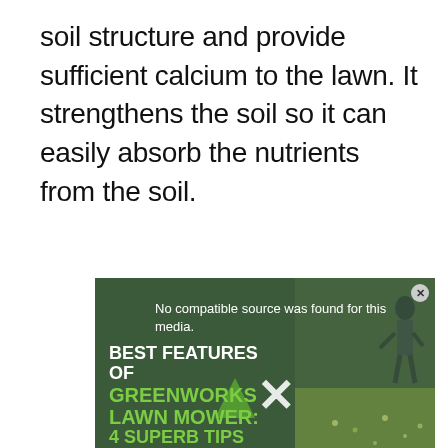soil structure and provide sufficient calcium to the lawn. It strengthens the soil so it can easily absorb the nutrients from the soil.
[Figure (screenshot): An embedded video player showing a lawn mower advertisement. The video displays the message 'No compatible source was found for this media.' overlaid on a green background. Bold text reads 'BEST FEATURES OF GREENWORKS LAWN MOWER: 4 SUPERB TIPS BEFORE BUYING'. A large white X close button appears in the upper right. A person mowing a lawn is visible in the background.]